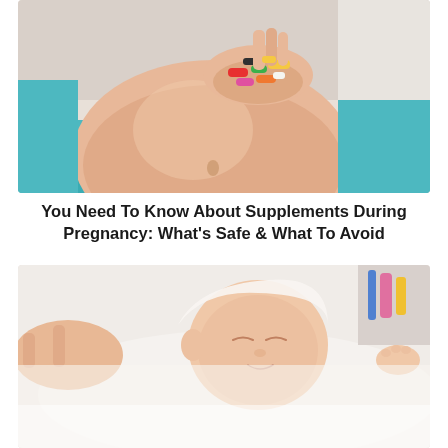[Figure (photo): Close-up of a pregnant woman's bare belly with a hand holding colorful capsule pills and supplements over it, wearing a teal/turquoise outfit, soft light background.]
You Need To Know About Supplements During Pregnancy: What's Safe & What To Avoid
[Figure (photo): A newborn baby sleeping peacefully wrapped in white blanket in a hospital bassinet, with a hand visible on the left and colorful medical supplies blurred in background.]